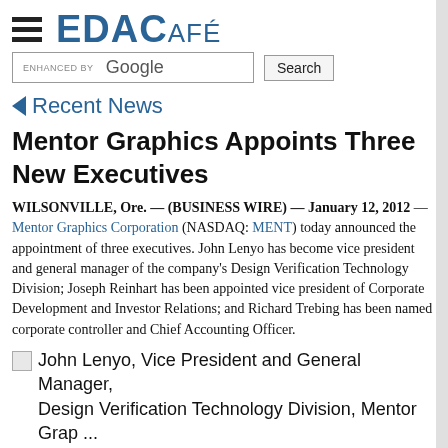EDACAFÉ
Recent News
Mentor Graphics Appoints Three New Executives
WILSONVILLE, Ore. — (BUSINESS WIRE) — January 12, 2012 — Mentor Graphics Corporation (NASDAQ: MENT) today announced the appointment of three executives. John Lenyo has become vice president and general manager of the company's Design Verification Technology Division; Joseph Reinhart has been appointed vice president of Corporate Development and Investor Relations; and Richard Trebing has been named corporate controller and Chief Accounting Officer.
[Figure (photo): John Lenyo, Vice President and General Manager, Design Verification Technology Division, Mentor Graphics photo placeholder]
John Lenyo, Vice President and General Manager, Design Verification Technology Division, Mentor Graphics (Photo: Business Wire)
John Lenyo was previously general manager of the Design